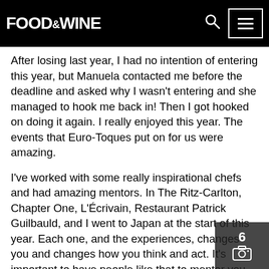FOOD&WINE
After losing last year, I had no intention of entering this year, but Manuela contacted me before the deadline and asked why I wasn't entering and she managed to hook me back in! Then I got hooked on doing it again. I really enjoyed this year. The events that Euro-Toques put on for us were amazing.
I've worked with some really inspirational chefs and had amazing mentors. In The Ritz-Carlton, Chapter One, L'Écrivain, Restaurant Patrick Guilbauld, and I went to Japan at the start of this year. Each one, and the experiences, changes you and changes how you think and act. It's important to have people like that to mentor you. They force you to change your thought process for a time and actually understand what these guys are doing. In your own head you make your own decisions, every month I change my mind, so it is important for me to have these people to help with that.
[Figure (screenshot): Screenshot capture button overlay with number 6 and camera icon]